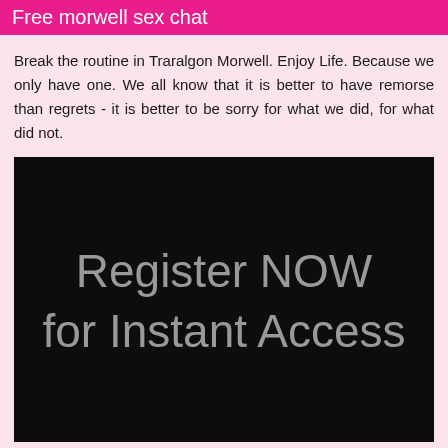Free morwell sex chat
Break the routine in Traralgon Morwell. Enjoy Life. Because we only have one. We all know that it is better to have remorse than regrets - it is better to be sorry for what we did, for what did not.
[Figure (other): Black rectangle banner with grey text reading 'Register NOW for Instant Access']